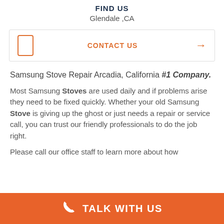FIND US
Glendale ,CA
CONTACT US →
Samsung Stove Repair Arcadia, California #1 Company.
Most Samsung Stoves are used daily and if problems arise they need to be fixed quickly. Whether your old Samsung Stove is giving up the ghost or just needs a repair or service call, you can trust our friendly professionals to do the job right.
Please call our office staff to learn more about how
TALK WITH US